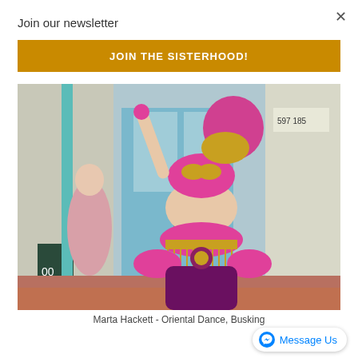×
Join our newsletter
JOIN THE SISTERHOOD!
[Figure (photo): A belly dancer in a vibrant pink and gold costume with fringe and ornamental details, performing outdoors near a shopfront. Another person in a pink coat is visible in the background.]
Marta Hackett - Oriental Dance, Busking
Message Us